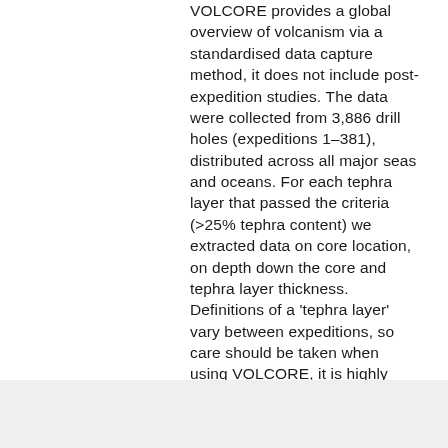VOLCORE provides a global overview of volcanism via a standardised data capture method, it does not include post-expedition studies. The data were collected from 3,886 drill holes (expeditions 1–381), distributed across all major seas and oceans. For each tephra layer that passed the criteria (>25% tephra content) we extracted data on core location, on depth down the core and tephra layer thickness. Definitions of a 'tephra layer' vary between expeditions, so care should be taken when using VOLCORE, it is highly advisable to carefully read the